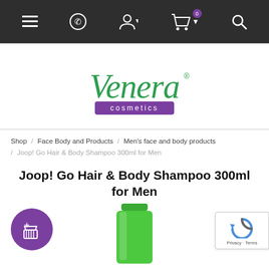Navigation bar with menu, phone, account, cart (0 items), and search icons
[Figure (logo): Venera Cosmetics logo — green cursive 'Venera' text with registered trademark symbol over a purple rectangle reading 'cosmetics' in white]
Shop / Face Body and Products / Men's face and body products / Joop! Go Hair & Body Shampoo 300ml for Men
Joop! Go Hair & Body Shampoo 300ml for Men
[Figure (photo): Green tube of Joop! Go Hair & Body Shampoo 300ml partially visible at bottom of page, plus a purple circular add-to-cart button with + and basket icon]